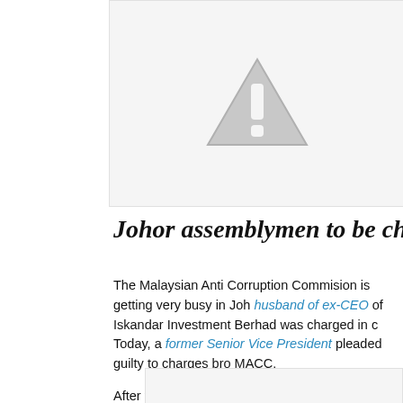[Figure (other): Gray warning/error placeholder image with a triangle warning icon containing an exclamation mark]
Johor assemblymen to be charged fo
The Malaysian Anti Corruption Commision is getting very busy in Joh husband of ex-CEO of Iskandar Investment Berhad was charged in c Today, a former Senior Vice President pleaded guilty to charges bro MACC.

After this, I hear, an ADUN or Assemblyman in Johor will be brought corruption charges related to the IIB.
[Figure (other): Partial view of another image placeholder at the bottom of the page]